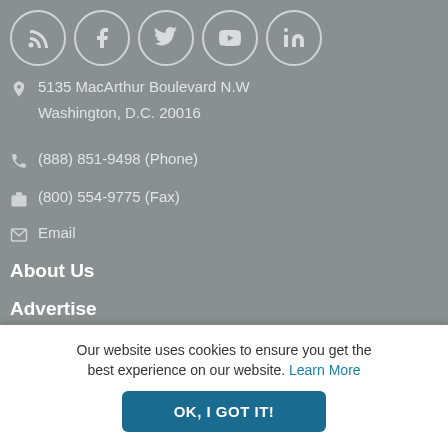[Figure (other): Social media icon circles: RSS, Facebook, Twitter, YouTube, LinkedIn]
5135 MacArthur Boulevard N.W
Washington, D.C. 20016
(888) 851-9498 (Phone)
(800) 554-9775 (Fax)
Email
About Us
Advertise
Print
Online
Contact Us
Directories & Guides
Our website uses cookies to ensure you get the best experience on our website. Learn More
OK, I GOT IT!